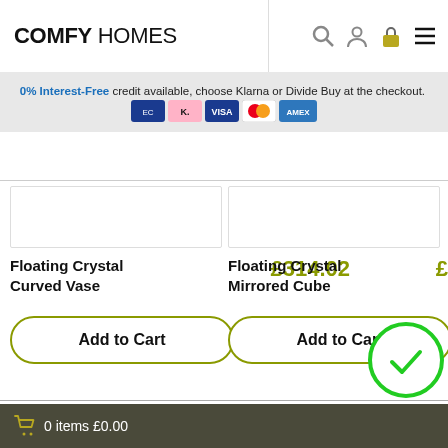COMFY HOMES
0% Interest-Free credit available, choose Klarna or Divide Buy at the checkout.
[Figure (screenshot): Product image placeholder box for Floating Crystal Curved Vase]
Floating Crystal Curved Vase £314.02
Add to Cart
[Figure (screenshot): Product image placeholder box for Floating Crystal Mirrored Cube]
Floating Crystal Mirrored Cube £
Add to Cart
0 items £0.00